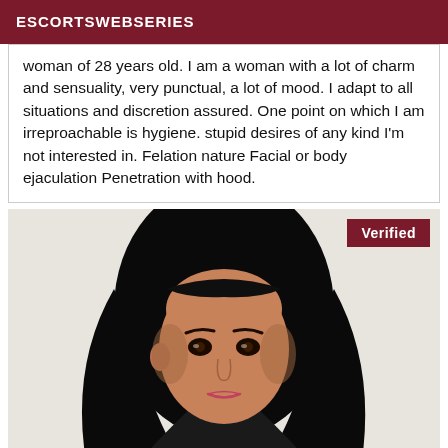ESCORTSWEBSERIES
woman of 28 years old. I am a woman with a lot of charm and sensuality, very punctual, a lot of mood. I adapt to all situations and discretion assured. One point on which I am irreproachable is hygiene. stupid desires of any kind I'm not interested in. Felation nature Facial or body ejaculation Penetration with hood.
[Figure (photo): Portrait photo of a woman with long dark hair against a light background, with a 'Verified' badge in the top right corner]